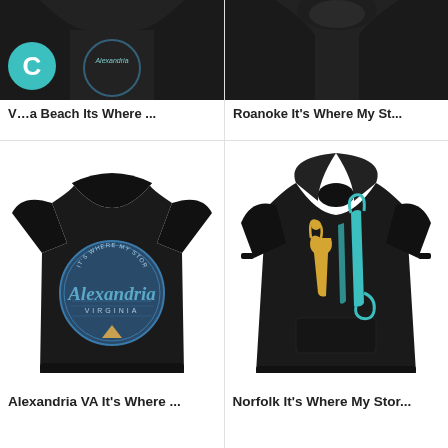[Figure (photo): Top-left product image of a black t-shirt (partially visible, cut off) with Virginia Beach text]
Virginia Beach Its Where ...
[Figure (photo): Top-right product image of a black hoodie (partially visible, cut off) with Roanoke text]
Roanoke It's Where My St...
[Figure (photo): Black t-shirt with circular Alexandria Virginia badge graphic]
Alexandria VA It's Where ...
[Figure (photo): Black hoodie with colorful stylized Norfolk instrument/music graphic]
Norfolk It's Where My Stor...